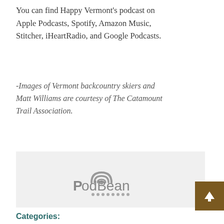You can find Happy Vermont's podcast on Apple Podcasts, Spotify, Amazon Music, Stitcher, iHeartRadio, and Google Podcasts.
-Images of Vermont backcountry skiers and Matt Williams are courtesy of The Catamount Trail Association.
[Figure (logo): PodBean logo with arc/wifi icon above the text 'PodBean' and a row of dots below, displayed on a light grey background box.]
Categories:
Mountains, Lakes & Rivers, Outdoors, Podcast, recreation, skiing, Winter